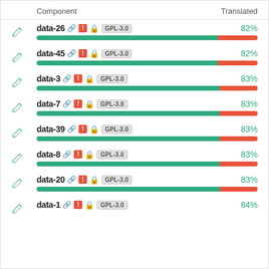| Component | Translated |
| --- | --- |
| data-26 GPL-3.0 | 82% |
| data-45 GPL-3.0 | 82% |
| data-3 GPL-3.0 | 83% |
| data-7 GPL-3.0 | 83% |
| data-39 GPL-3.0 | 83% |
| data-8 GPL-3.0 | 83% |
| data-20 GPL-3.0 | 83% |
| data-1 GPL-3.0 | 84% |